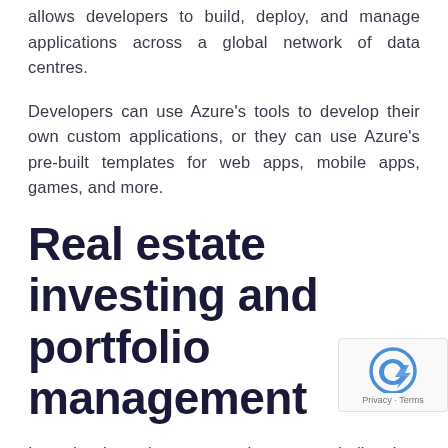allows developers to build, deploy, and manage applications across a global network of data centres.
Developers can use Azure's tools to develop their own custom applications, or they can use Azure's pre-built templates for web apps, mobile apps, games, and more.
Real estate investing and portfolio management
Investing in real estate can be a very challenging, time-consuming, and complicated venture. With specialised software, you can easily track investments, find strategic partners, analyse trends, and stay on top of local regulations.